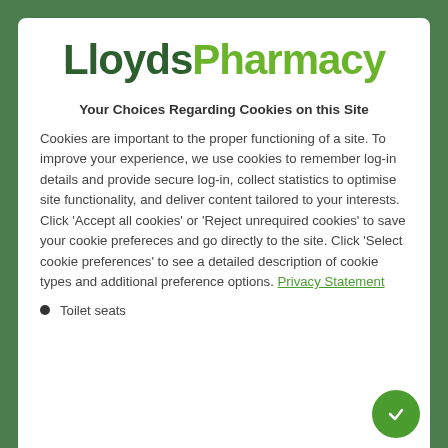LloydsPharmacy
Your Choices Regarding Cookies on this Site
Cookies are important to the proper functioning of a site. To improve your experience, we use cookies to remember log-in details and provide secure log-in, collect statistics to optimise site functionality, and deliver content tailored to your interests. Click 'Accept all cookies' or 'Reject unrequired cookies' to save your cookie prefereces and go directly to the site. Click 'Select cookie preferences' to see a detailed description of cookie types and additional preference options. Privacy Statement
Toilet seats